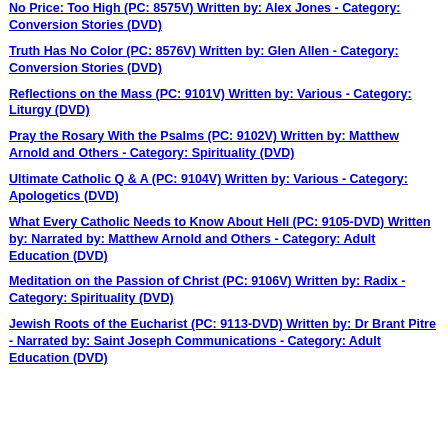No Price: Too High (PC: 8575V) Written by: Alex Jones - Category: Conversion Stories (DVD)
Truth Has No Color (PC: 8576V) Written by: Glen Allen - Category: Conversion Stories (DVD)
Reflections on the Mass (PC: 9101V) Written by: Various - Category: Liturgy (DVD)
Pray the Rosary With the Psalms (PC: 9102V) Written by: Matthew Arnold and Others - Category: Spirituality (DVD)
Ultimate Catholic Q & A (PC: 9104V) Written by: Various - Category: Apologetics (DVD)
What Every Catholic Needs to Know About Hell (PC: 9105-DVD) Written by: Narrated by: Matthew Arnold and Others - Category: Adult Education (DVD)
Meditation on the Passion of Christ (PC: 9106V) Written by: Radix - Category: Spirituality (DVD)
Jewish Roots of the Eucharist (PC: 9113-DVD) Written by: Dr Brant Pitre - Narrated by: Saint Joseph Communications - Category: Adult Education (DVD)